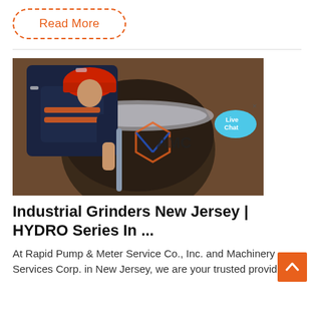Read More
[Figure (photo): Worker in dark blue coveralls and orange hard hat leaning over a large industrial grinder bowl, holding a metal rod tool inside the bowl. AMC logo watermark visible on the image.]
Industrial Grinders New Jersey | HYDRO Series In ...
At Rapid Pump & Meter Service Co., Inc. and Machinery Services Corp. in New Jersey, we are your trusted provider